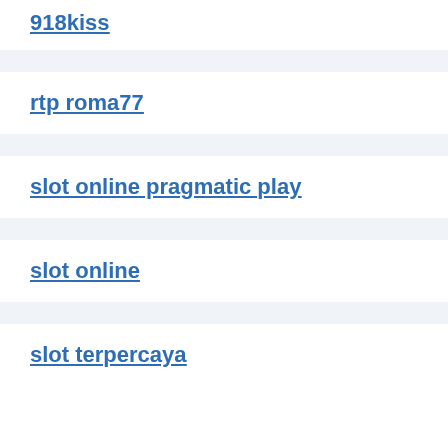918kiss
rtp roma77
slot online pragmatic play
slot online
slot terpercaya